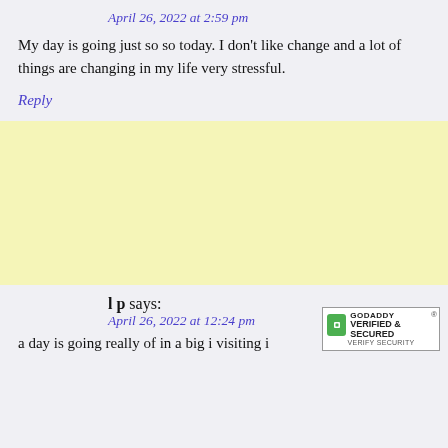April 26, 2022 at 2:59 pm
My day is going just so so today. I don't like change and a lot of things are changing in my life very stressful.
Reply
[Figure (other): Yellow advertisement block]
lp says:
April 26, 2022 at 12:24 pm
[Figure (other): GoDaddy Verified & Secured badge]
a day is going really of in a big visiting...